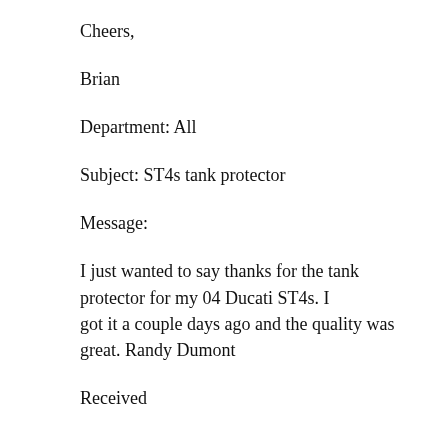Cheers,
Brian
Department: All
Subject: ST4s tank protector
Message:
I just wanted to say thanks for the tank protector for my 04 Ducati ST4s. I got it a couple days ago and the quality was great. Randy Dumont
Received